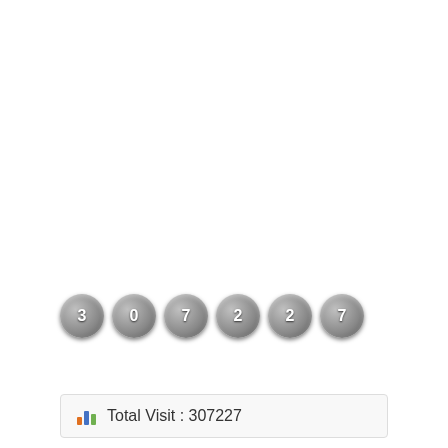[Figure (other): A row of six circular metallic digit badges showing the number 307227]
Total Visit : 307227